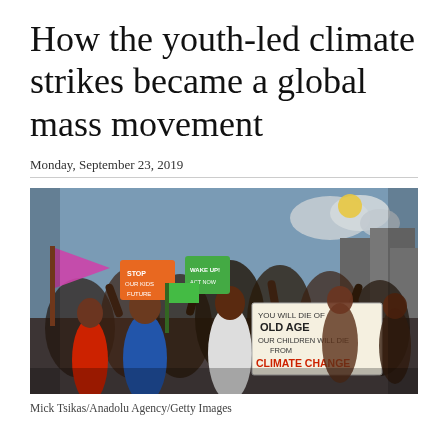How the youth-led climate strikes became a global mass movement
Monday, September 23, 2019
[Figure (photo): Young climate activists marching and celebrating at a climate strike rally, holding signs including one reading 'You will die of old age, our children will die from climate change']
Mick Tsikas/Anadolu Agency/Getty Images